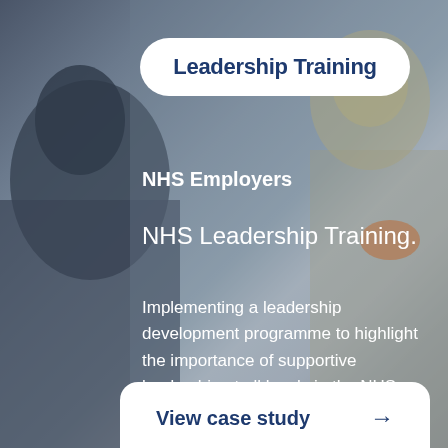Leadership Training
NHS Employers
NHS Leadership Training.
Implementing a leadership development programme to highlight the importance of supportive leadership at all levels in the NHS.
View case study →